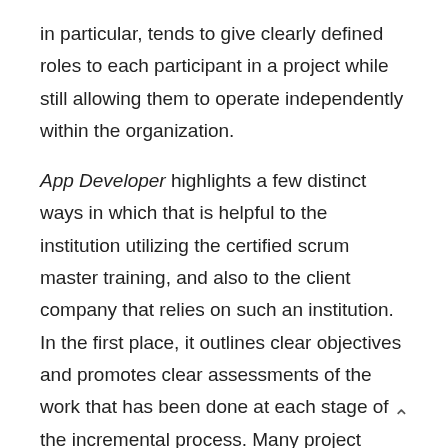in particular, tends to give clearly defined roles to each participant in a project while still allowing them to operate independently within the organization.
App Developer highlights a few distinct ways in which that is helpful to the institution utilizing the certified scrum master training, and also to the client company that relies on such an institution. In the first place, it outlines clear objectives and promotes clear assessments of the work that has been done at each stage of the incremental process. Many project managers have found that this minimizes the risk of a project going off the rails or being misunderstood by different departments or individual workers.